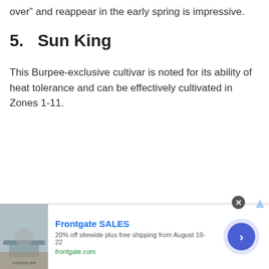over” and reappear in the early spring is impressive.
5.  Sun King
This Burpee-exclusive cultivar is noted for its ability of heat tolerance and can be effectively cultivated in Zones 1-11.
[Figure (other): Advertisement banner for Frontgate SALES showing outdoor furniture with fire pit image, text '20% off sitewide plus free shipping from August 19-22', and frontgate.com link, with navigation arrow button]